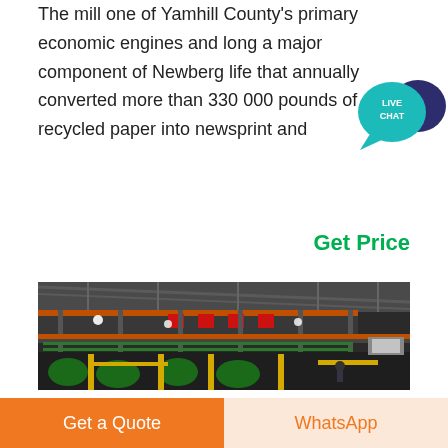The mill one of Yamhill County's primary economic engines and long a major component of Newberg life that annually converted more than 330 000 pounds of recycled paper into newsprint and
[Figure (infographic): Live Chat bubble widget — teal circular speech bubble with text 'LIVE CHAT' overlapping a dark navy speech bubble]
Get Price
[Figure (photo): Interior of a large industrial paper/manufacturing mill showing multi-level steel framework, orange and green pipes, machinery, and bright overhead lighting]
Get a Quote
WhatsApp